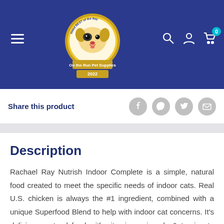[Figure (logo): Pet supplies store logo — award badge with dog illustration, text 'Best of the Bay', 'On the Run Pet Supplies', '2022']
Share this product
Description
Rachael Ray Nutrish Indoor Complete is a simple, natural food created to meet the specific needs of indoor cats. Real U.S. chicken is always the #1 ingredient, combined with a unique Superfood Blend to help with indoor cat concerns. It's delicious, natural food with vitamins, minerals & taurine to help keep your indoor cat healthy & happy. And your cat will love our new